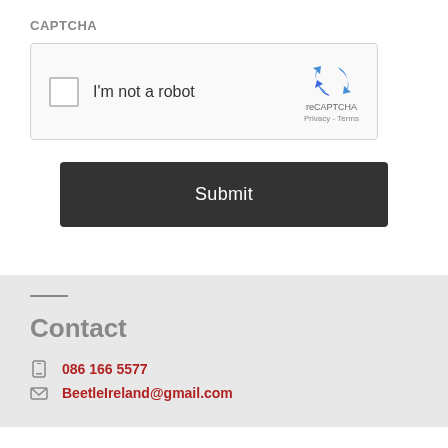CAPTCHA
[Figure (screenshot): reCAPTCHA widget with checkbox labeled 'I'm not a robot' and reCAPTCHA logo with Privacy and Terms links]
Submit
Contact
086 166 5577
BeetleIreland@gmail.com